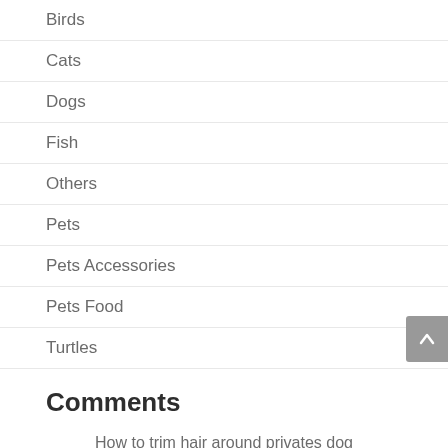Birds
Cats
Dogs
Fish
Others
Pets
Pets Accessories
Pets Food
Turtles
Comments
How to trim hair around privates dog